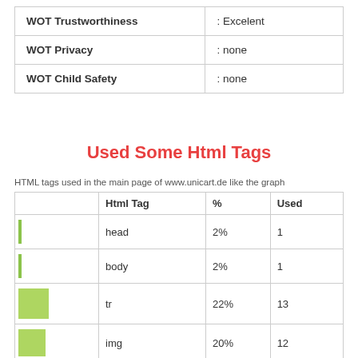|  |  |
| --- | --- |
| WOT Trustworthiness | : Excelent |
| WOT Privacy | : none |
| WOT Child Safety | : none |
Used Some Html Tags
HTML tags used in the main page of www.unicart.de like the graph
|  | Html Tag | % | Used |
| --- | --- | --- | --- |
| [bar-small] | head | 2% | 1 |
| [bar-small] | body | 2% | 1 |
| [bar-medium] | tr | 22% | 13 |
| [bar-medium] | img | 20% | 12 |
| [bar-tiny] | ... |  |  |